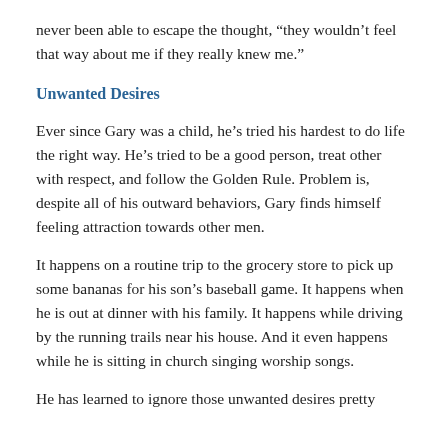never been able to escape the thought, “they wouldn’t feel that way about me if they really knew me.”
Unwanted Desires
Ever since Gary was a child, he’s tried his hardest to do life the right way. He’s tried to be a good person, treat other with respect, and follow the Golden Rule. Problem is, despite all of his outward behaviors, Gary finds himself feeling attraction towards other men.
It happens on a routine trip to the grocery store to pick up some bananas for his son’s baseball game. It happens when he is out at dinner with his family. It happens while driving by the running trails near his house. And it even happens while he is sitting in church singing worship songs.
He has learned to ignore those unwanted desires pretty